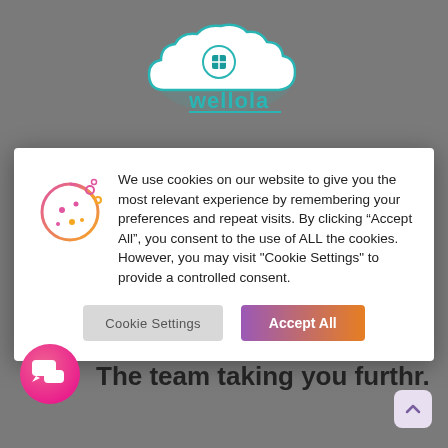[Figure (logo): Wellola logo — teal cloud with a mouse/cross icon and the text 'wellola' in teal with an underline]
We use cookies on our website to give you the most relevant experience by remembering your preferences and repeat visits. By clicking “Accept All”, you consent to the use of ALL the cookies. However, you may visit "Cookie Settings" to provide a controlled consent.
Cookie Settings
Accept All
The team taking you furthr.